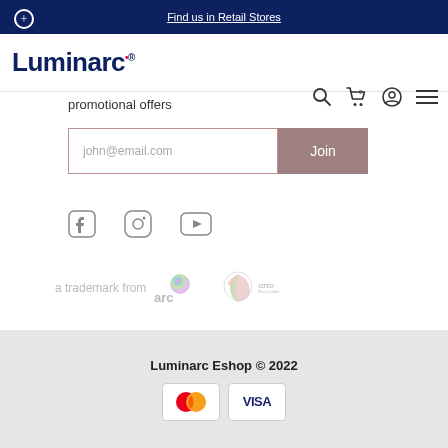Find us in Retail Stores
[Figure (logo): Luminarc logo with navigation icons (search, cart, user, menu)]
promotional offers
[Figure (screenshot): Email input field with placeholder john@email.com and Join button]
[Figure (infographic): Social media icons: Facebook, Instagram, YouTube]
[Figure (logo): a trademark from arc logo and CITEO eco-certified logo]
Luminarc Eshop © 2022
[Figure (infographic): Payment icons: Mastercard and Visa]